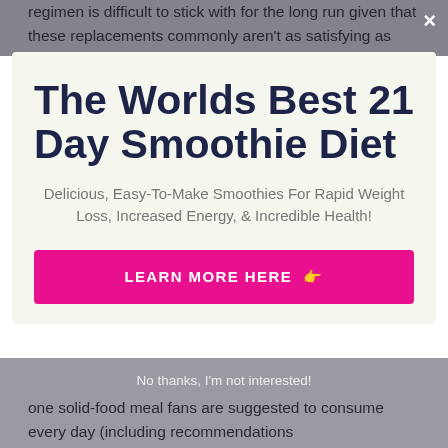regimen is difficult to stick with for the long run given that these replacements commonly aren't as satisfying as strong food.
[Figure (screenshot): Modal advertisement popup with close button (×), light beige/cream background. Contains large dark navy bold title 'The Worlds Best 21 Day Smoothie Diet', subtitle text 'Delicious, Easy-To-Make Smoothies For Rapid Weight Loss, Increased Energy, & Incredible Health!', a bright magenta/pink call-to-action button labeled 'LEARN MORE HERE 👉', and a dismiss link 'No thanks, I'm not interested!' below.]
one solid-food meal fans are suggested to consume every day (including recommendations